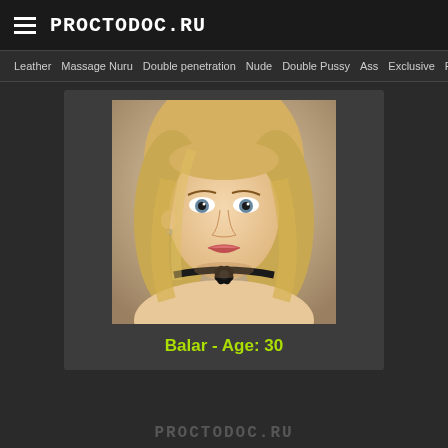PROCTODOC.RU
Leather  Massage Nuru  Double penetration  Nude  Double Pussy  Ass  Exclusive  Pussy
[Figure (photo): Portrait photo of a young blonde woman wearing a black leather choker with a floral decoration, looking directly at the camera]
Balar - Age: 30
PROCTODOC.RU